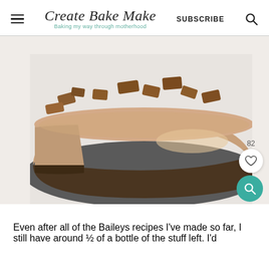Create Bake Make — Baking my way through motherhood — SUBSCRIBE
[Figure (photo): A no-bake cheesecake topped with broken pieces of chocolate on a dark plate, with one slice cut out revealing the chocolate biscuit base and creamy filling. A heart/like button showing 82 and a teal search button overlay the image.]
Even after all of the Baileys recipes I've made so far, I still have around ½ of a bottle of the stuff left. I'd